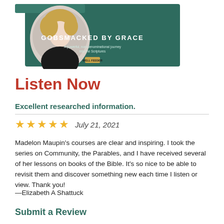[Figure (logo): Gobsmacked by Grace podcast banner with a woman's portrait photo on teal/dark green background, text 'GOBSMACKED BY GRACE' and 'A powerful, non-denominational journey into the Scriptures', logo at bottom.]
Listen Now
Excellent researched information.
★★★★★   July 21, 2021
Madelon Maupin's courses are clear and inspiring. I took the series on Community, the Parables, and I have received several of her lessons on books of the Bible. It's so nice to be able to revisit them and discover something new each time I listen or view. Thank you!
—Elizabeth A Shattuck
Submit a Review